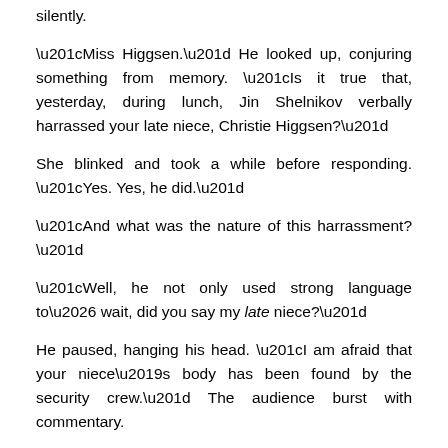silently.
“Miss Higgsen.” He looked up, conjuring something from memory. “Is it true that, yesterday, during lunch, Jin Shelnikov verbally harrassed your late niece, Christie Higgsen?”
She blinked and took a while before responding. “Yes. Yes, he did.”
“And what was the nature of this harrassment?”
“Well, he not only used strong language to… wait, did you say my late niece?”
He paused, hanging his head. “I am afraid that your niece’s body has been found by the security crew.” The audience burst with commentary.